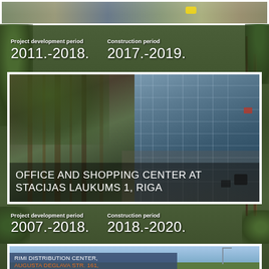[Figure (photo): Top strip: exterior photo of a building/site with a yellow object visible, partially cropped]
Project development period
2011.-2018.
Construction period
2017.-2019.
[Figure (photo): Architectural photo of Office and Shopping Center at Stacijas Laukums 1, Riga — modern glass facade building with landscaped courtyard]
OFFICE AND SHOPPING CENTER AT STACIJAS LAUKUMS 1, RIGA
Project development period
2007.-2018.
Construction period
2018.-2020.
[Figure (photo): Partially visible photo of Rimi Distribution Center exterior — blue sky, green field]
RIMI DISTRIBUTION CENTER, AUGUSTA DEGLAVA STR. 161,